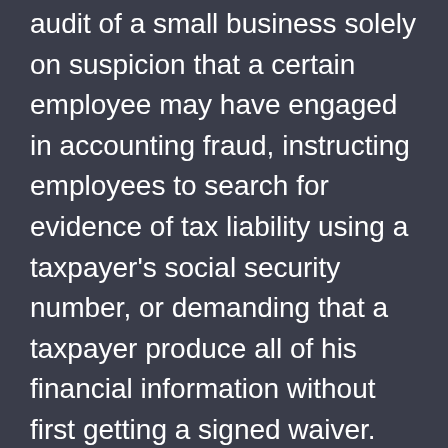audit of a small business solely on suspicion that a certain employee may have engaged in accounting fraud, instructing employees to search for evidence of tax liability using a taxpayer's social security number, or demanding that a taxpayer produce all of his financial information without first getting a signed waiver. These and other actions violate what is known as the IRS Code. A tax lawyer experienced with IRS cases can inform the taxpayer that these actions are illegal, that they constitute criminal acts under the law, and that he has a strong argument for tax relief based on the fact that he did not break the law